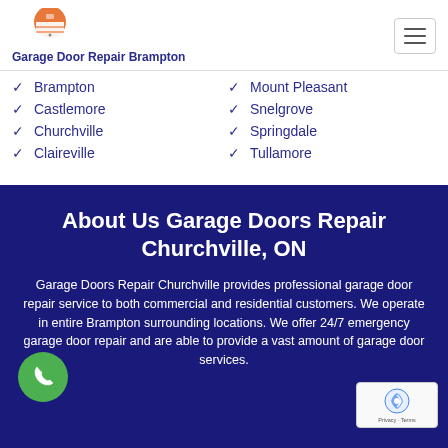Garage Door Repair Brampton
Brampton
Castlemore
Churchville
Claireville
Mount Pleasant
Snelgrove
Springdale
Tullamore
About Us Garage Doors Repair Churchville, ON
Garage Doors Repair Churchville provides professional garage door repair service to both commercial and residential customers. We operate in entire Brampton surrounding locations. We offer 24/7 emergency garage door repair and are able to provide a vast amount of garage door services.